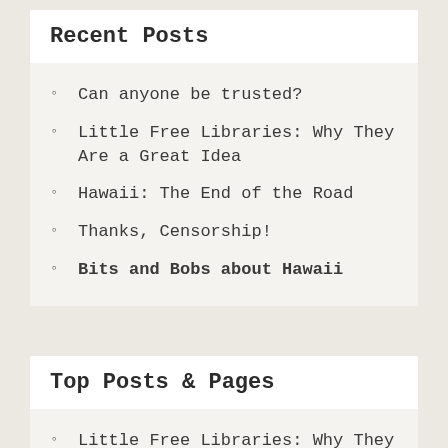Recent Posts
Can anyone be trusted?
Little Free Libraries: Why They Are a Great Idea
Hawaii: The End of the Road
Thanks, Censorship!
Bits and Bobs about Hawaii
Top Posts & Pages
Little Free Libraries: Why They Are a Great Idea